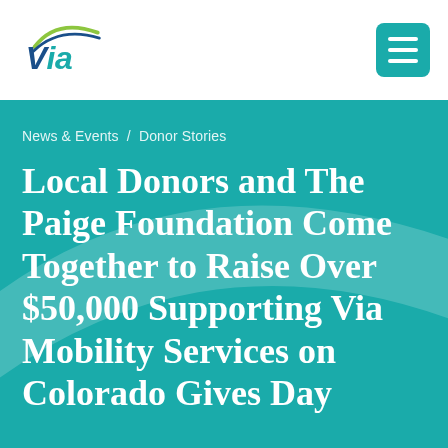[Figure (logo): Via Mobility Services logo — stylized 'Via' wordmark in dark blue/teal with a green and blue arc swoosh above]
[Figure (other): Teal/green hamburger menu button (three horizontal white bars on teal rounded square background)]
News & Events / Donor Stories
Local Donors and The Paige Foundation Come Together to Raise Over $50,000 Supporting Via Mobility Services on Colorado Gives Day